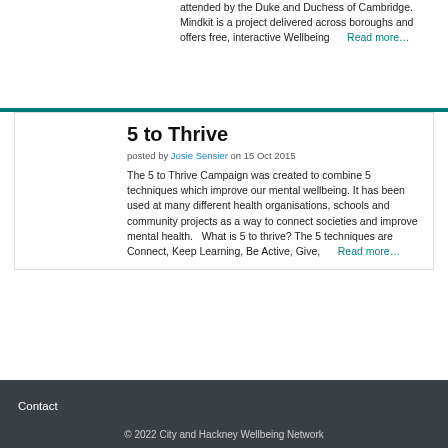attended by the Duke and Duchess of Cambridge. Mindkit is a project delivered across boroughs and offers free, interactive Wellbeing   Read more...
5 to Thrive
posted by Josie Sensier on 15 Oct 2015
The 5 to Thrive Campaign was created to combine 5 techniques which improve our mental wellbeing. It has been used at many different health organisations, schools and community projects as a way to connect societies and improve mental health.   What is 5 to thrive? The 5 techniques are Connect, Keep Learning, Be Active, Give,   Read more...
Contact
© 2022 City and Hackney Wellbeing Network